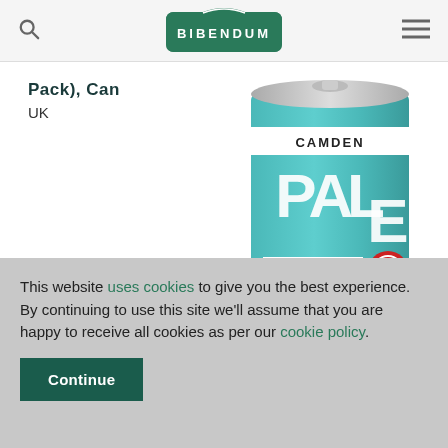BIBENDUM
Pack), Can
UK
[Figure (photo): Camden Pale Ale teal/turquoise can with CAMDEN PALE ALE text]
Learn more
This website uses cookies to give you the best experience. By continuing to use this site we'll assume that you are happy to receive all cookies as per our cookie policy.
Continue